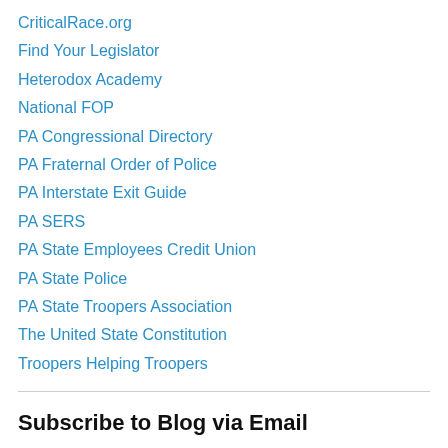CriticalRace.org
Find Your Legislator
Heterodox Academy
National FOP
PA Congressional Directory
PA Fraternal Order of Police
PA Interstate Exit Guide
PA SERS
PA State Employees Credit Union
PA State Police
PA State Troopers Association
The United State Constitution
Troopers Helping Troopers
Subscribe to Blog via Email
Enter your email address to subscribe to this blog and receive notifications of new posts by email.